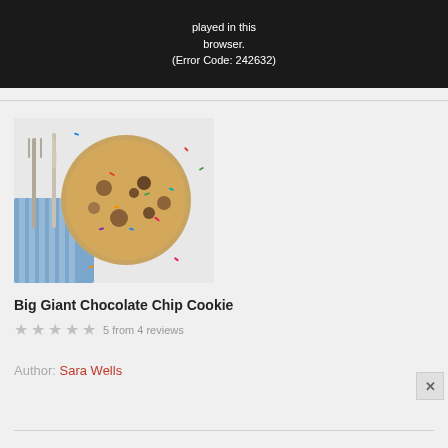[Figure (screenshot): Video player error message on dark background showing partial text 'played in this browser. (Error Code: 242632)']
[Figure (photo): Overhead photo of a large chocolate chip cookie with colorful sprinkles on a white surface with a blue striped cloth and fork and knife]
Big Giant Chocolate Chip Cookie
★ ★ ★ ★ ★ 5 from 4 reviews
Author: Sara Wells